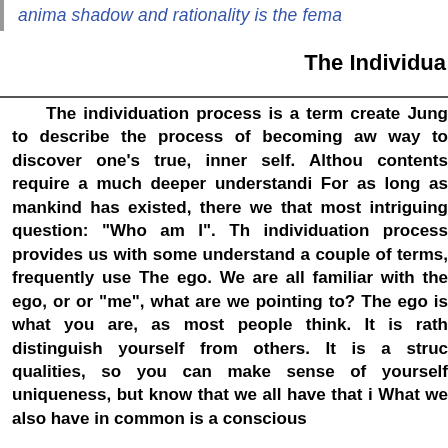anima shadow and rationality is the fema
The Individua
The individuation process is a term create Jung to describe the process of becoming aw way to discover one’s true, inner self. Althou contents require a much deeper understandi For as long as mankind has existed, there we that most intriguing question: "Who am I". Th individuation process provides us with some understand a couple of terms, frequently use The ego. We are all familiar with the ego, or or "me", what are we pointing to? The ego is what you are, as most people think. It is rath distinguish yourself from others. It is a struc qualities, so you can make sense of yourself uniqueness, but know that we all have that i What we also have in common is a conscious